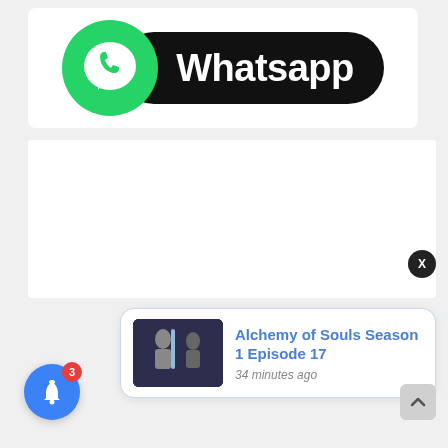[Figure (logo): WhatsApp logo banner: green circle with white phone/speech bubble icon, black pill-shaped label with 'Whatsapp' text in white]
[Figure (screenshot): A browser notification popup showing 'Alchemy of Souls Season 1 Episode 17' with thumbnail image and '34 minutes ago' timestamp, plus a blue bell notification button with red badge showing 3, and a close X button]
Alchemy of Souls Season 1 Episode 17
34 minutes ago